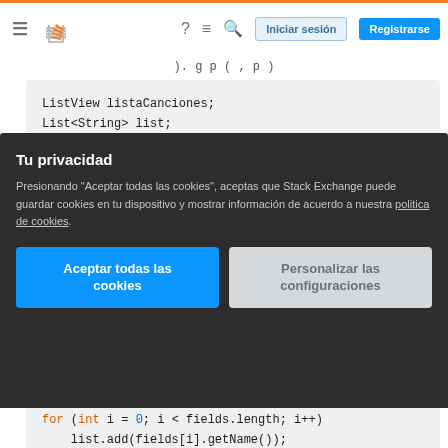Stack Overflow navigation bar with hamburger menu, logo, help, chat, search icons, Iniciar sesión and Registrarse buttons
y . g p ( , p ) y
ListView listaCanciones;
List<String> list;
ListAdapter adapter;

MediaPlayer mp;

int posicion = 0;
Button play_pause, btn_repetir;

@Override
protected void onCreate(Bundle savedInstanc
Tu privacidad
Presionando "Aceptar todas las cookies", aceptas que Stack Exchange puede guardar cookies en tu dispositivo y mostrar información de acuerdo a nuestra politica de cookies.
Aceptar todas las cookies
Personalizar las configuraciones
for (int i = 0; i < fields.length; i++)
    list.add(fields[i].getName());